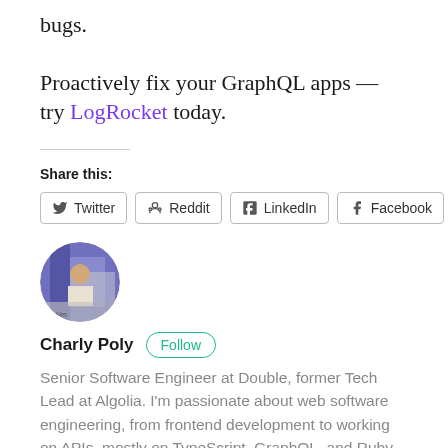bugs.
Proactively fix your GraphQL apps — try LogRocket today.
Share this:
Twitter  Reddit  LinkedIn  Facebook
[Figure (photo): Circular profile photo of author Charly Poly]
Charly Poly  Follow
Senior Software Engineer at Double, former Tech Lead at Algolia. I'm passionate about web software engineering, from frontend development to working on APIs, mostly on TypeScript, GraphQL, and Ruby ecosystems.